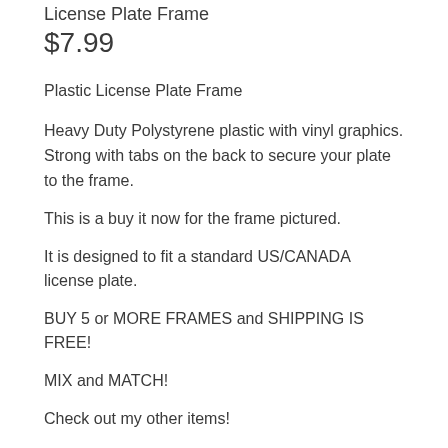License Plate Frame
$7.99
Plastic License Plate Frame
Heavy Duty Polystyrene plastic with vinyl graphics. Strong with tabs on the back to secure your plate to the frame.
This is a buy it now for the frame pictured.
It is designed to fit a standard US/CANADA license plate.
BUY 5 or MORE FRAMES and SHIPPING IS FREE!
MIX and MATCH!
Check out my other items!
Please…